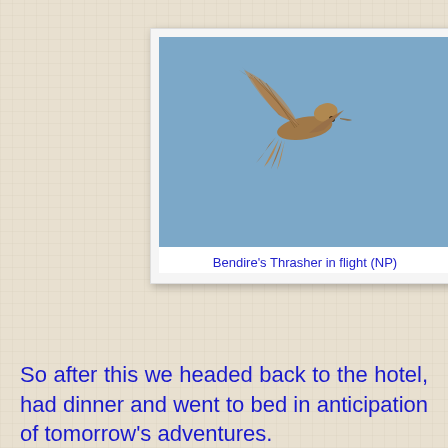[Figure (photo): Polaroid-style photograph of a Bendire's Thrasher bird in flight against a blue sky background]
Bendire's Thrasher in flight (NP)
So after this we headed back to the hotel, had dinner and went to bed in anticipation of tomorrow's adventures.